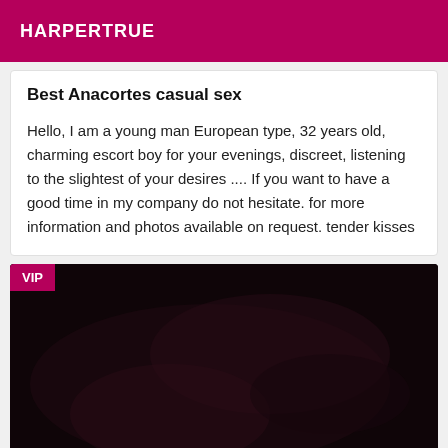HARPERTRUE
Best Anacortes casual sex
Hello, I am a young man European type, 32 years old, charming escort boy for your evenings, discreet, listening to the slightest of your desires .... If you want to have a good time in my company do not hesitate. for more information and photos available on request. tender kisses
[Figure (photo): Dark, dimly lit photo — nearly black image with faint reddish and warm tones, very low exposure. VIP badge shown in top-left corner.]